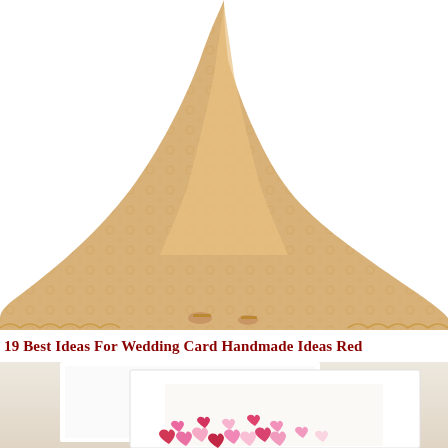[Figure (photo): Woman wearing a flowing champagne/gold lace wedding dress with a long train, photographed from above/behind showing the dress and gold sandal heels on a white background.]
19 Best Ideas For Wedding Card Handmade Ideas Red
[Figure (photo): White shadow box frames leaning against a beige wall, with pink and red paper hearts scattered inside the front frame, suggesting a handmade wedding card display.]